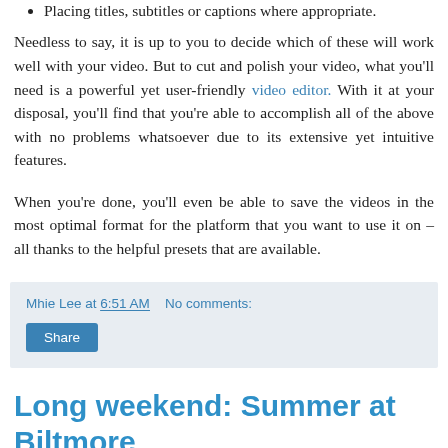Placing titles, subtitles or captions where appropriate.
Needless to say, it is up to you to decide which of these will work well with your video. But to cut and polish your video, what you'll need is a powerful yet user-friendly video editor. With it at your disposal, you'll find that you're able to accomplish all of the above with no problems whatsoever due to its extensive yet intuitive features.
When you're done, you'll even be able to save the videos in the most optimal format for the platform that you want to use it on – all thanks to the helpful presets that are available.
Mhie Lee at 6:51 AM   No comments:
Share
Long weekend: Summer at Biltmore